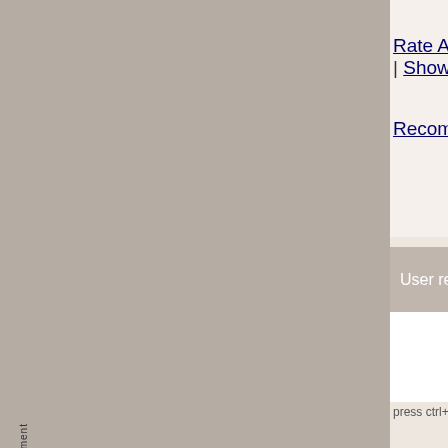Rate And Review This Site | Show All Re
Recommend MuonLineTR Fun Server S4
User reviews
press ctrl+d at the same t
Advertisement
Webmasters
Join mmorpg list
Login Account
Lost password
Lost code